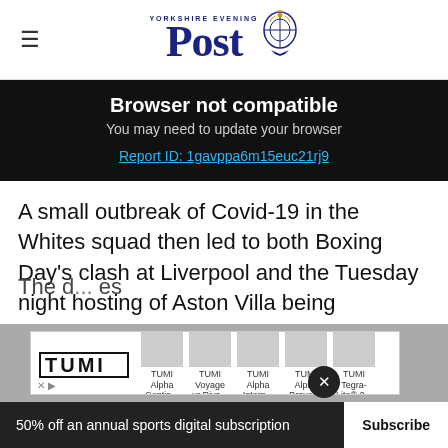Yorkshire Evening Post
Browser not compatible
You may need to update your browser
Report ID: 1gavppa6m15euc21rj9
A small outbreak of Covid-19 in the Whites squad then led to both Boxing Day's clash at Liverpool and the Tuesday night hosting of Aston Villa being postponed.
[Figure (screenshot): TUMI advertisement banner showing TUMI logo and product thumbnails: TUMI Alpha Contin..., TUMI Voyage ur Riva..., TUMI Alpha Intern..., TUMI Alpha Bravo..., TUMI Tegra-Lite® 2...]
The d... es meant United did not have enough recogni...
50% off an annual sports digital subscription  Subscribe